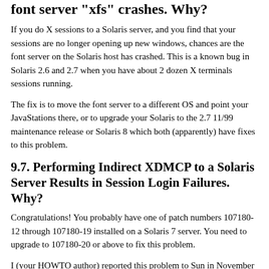font server "xfs" crashes. Why?
If you do X sessions to a Solaris server, and you find that your sessions are no longer opening up new windows, chances are the font server on the Solaris host has crashed. This is a known bug in Solaris 2.6 and 2.7 when you have about 2 dozen X terminals sessions running.
The fix is to move the font server to a different OS and point your JavaStations there, or to upgrade your Solaris to the 2.7 11/99 maintenance release or Solaris 8 which both (apparently) have fixes to this problem.
9.7. Performing Indirect XDMCP to a Solaris Server Results in Session Login Failures. Why?
Congratulations! You probably have one of patch numbers 107180-12 through 107180-19 installed on a Solaris 7 server. You need to upgrade to 107180-20 or above to fix this problem.
I (your HOWTO author) reported this problem to Sun in November 1999, at which time I was told a fix was not scheduled to be releasing. I was given to "unsupported configuration"